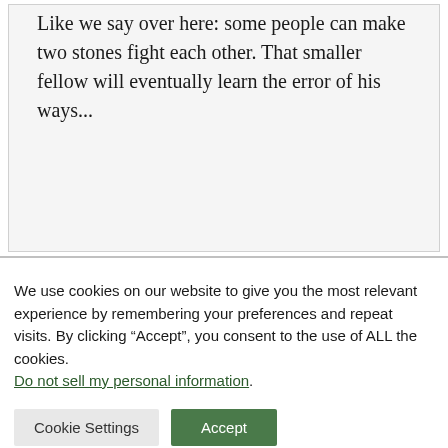Like we say over here: some people can make two stones fight each other. That smaller fellow will eventually learn the error of his ways...
Reply
We use cookies on our website to give you the most relevant experience by remembering your preferences and repeat visits. By clicking “Accept”, you consent to the use of ALL the cookies. Do not sell my personal information.